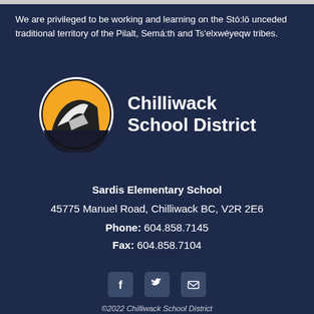We are privileged to be working and learning on the Stó:lō unceded traditional territory of the Pilalt, Semá:th and Ts'elxwéyeqw tribes.
[Figure (logo): Chilliwack School District logo: circular badge with orange and dark mountain/ski graphic, next to bold white text reading 'Chilliwack School District']
Sardis Elementary School
45775 Manuel Road, Chilliwack BC, V2R 2E6
Phone: 604.858.7145
Fax: 604.858.7104
[Figure (illustration): Three social media icons in rounded square boxes: Facebook, Twitter, and email/envelope]
©2022 Chilliwack School District